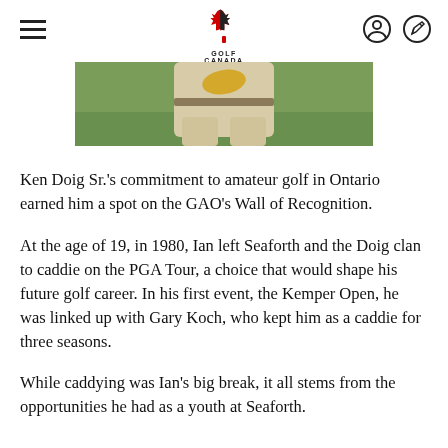Golf Canada
[Figure (photo): Cropped photo showing a person from the waist down wearing light beige/khaki clothing, standing on a green grass background, holding something yellow.]
Ken Doig Sr.'s commitment to amateur golf in Ontario earned him a spot on the GAO's Wall of Recognition.
At the age of 19, in 1980, Ian left Seaforth and the Doig clan to caddie on the PGA Tour, a choice that would shape his future golf career. In his first event, the Kemper Open, he was linked up with Gary Koch, who kept him as a caddie for three seasons.
While caddying was Ian's big break, it all stems from the opportunities he had as a youth at Seaforth.